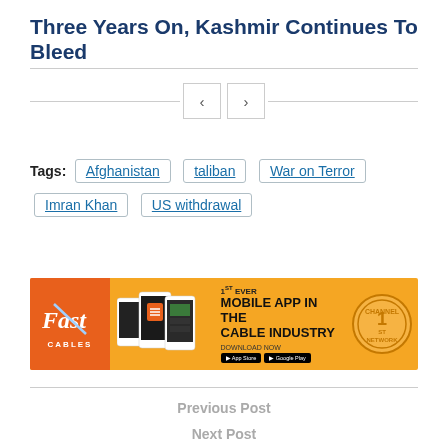Three Years On, Kashmir Continues To Bleed
[Figure (other): Navigation arrows (previous/next) with horizontal divider lines on either side]
Tags:  Afghanistan  taliban  War on Terror  Imran Khan  US withdrawal
[Figure (other): Fast Cables advertisement banner: orange background, Fast Cables logo in orange box, phones in center, text '1st EVER MOBILE APP IN THE CABLE INDUSTRY DOWNLOAD NOW' with App Store and Google Play buttons, circular badge on right]
Previous Post
Next Post
Rigging Plans: Why Is Imran Khan Sout So Keen